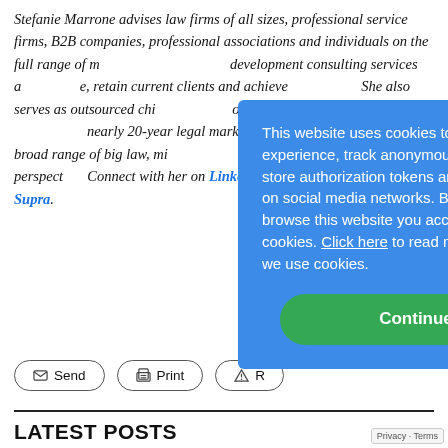Stefanie Marrone advises law firms of all sizes, professional service firms, B2B companies, professional associations and individuals on the full range of marketing and business development consulting services a… e, retain current clients and achieve… She also serves as outsourced chi… officer/marketing department for … nearly 20-year legal marketing ca… d with a broad range of big law, mi… ch has given her a valuable perspect… Connect with her on LinkedIn am… on JD Supra.
This website uses cookies to improve user experience, track anonymous site usage, store authorization tokens and permit sharing on social media networks. By continuing to browse this website you accept the use of cookies. Click here to read more about how we use cookies.
LATEST POSTS